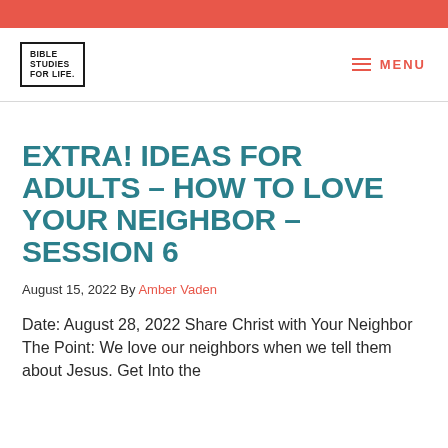[Figure (logo): Bible Studies For Life logo — text in a rectangular border]
EXTRA! IDEAS FOR ADULTS – HOW TO LOVE YOUR NEIGHBOR – SESSION 6
August 15, 2022 By Amber Vaden
Date: August 28, 2022 Share Christ with Your Neighbor The Point: We love our neighbors when we tell them about Jesus. Get Into the